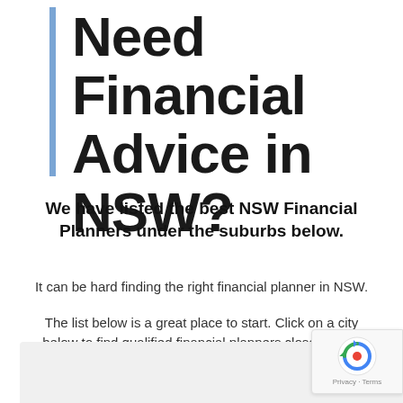Need Financial Advice in NSW?
We have listed the best NSW Financial Planners under the suburbs below.
It can be hard finding the right financial planner in NSW.
The list below is a great place to start.  Click on a city below to find qualified financial planners close to you.